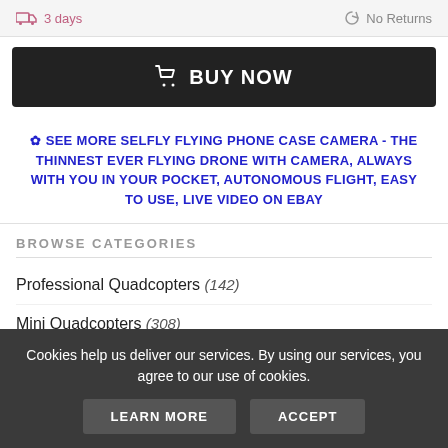3 days   No Returns
BUY NOW
✿ SEE MORE SELFLY FLYING PHONE CASE CAMERA - THE THINNEST EVER FLYING DRONE WITH CAMERA, ALWAYS WITH YOU IN YOUR POCKET, AUTONOMOUS FLIGHT, EASY TO USE, LIVE VIDEO ON EBAY
BROWSE CATEGORIES
Professional Quadcopters (142)
Mini Quadcopters (308)
Kits (72)
Cookies help us deliver our services. By using our services, you agree to our use of cookies.
LEARN MORE   ACCEPT